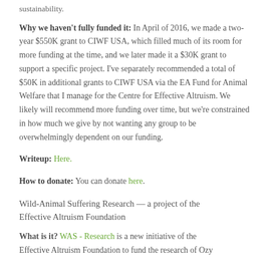sustainability.
Why we haven't fully funded it: In April of 2016, we made a two-year $550K grant to CIWF USA, which filled much of its room for more funding at the time, and we later made it a $30K grant to support a specific project. I've separately recommended a total of $50K in additional grants to CIWF USA via the EA Fund for Animal Welfare that I manage for the Centre for Effective Altruism. We likely will recommend more funding over time, but we're constrained in how much we give by not wanting any group to be overwhelmingly dependent on our funding.
Writeup: Here.
How to donate: You can donate here.
Wild-Animal Suffering Research — a project of the Effective Altruism Foundation
What is it? WAS - Research is a new initiative of the Effective Altruism Foundation to fund the research of Ozy